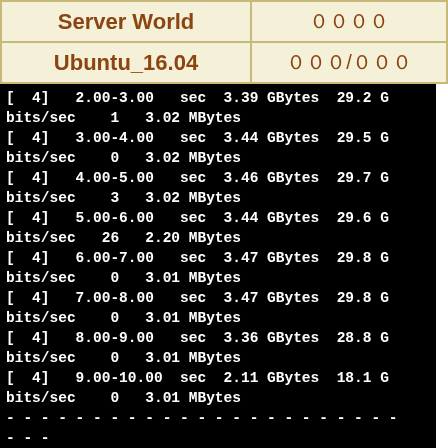Server World | ００００
Ubuntu_16.04 | ０００/０００
[  4]   2.00-3.00   sec  3.39 GBytes  29.2 Gbits/sec    1   3.02 MBytes
[  4]   3.00-4.00   sec  3.44 GBytes  29.5 Gbits/sec    0   3.02 MBytes
[  4]   4.00-5.00   sec  3.46 GBytes  29.7 Gbits/sec    3   3.02 MBytes
[  4]   5.00-6.00   sec  3.44 GBytes  29.6 Gbits/sec   26   2.20 MBytes
[  4]   6.00-7.00   sec  3.47 GBytes  29.8 Gbits/sec    0   3.01 MBytes
[  4]   7.00-8.00   sec  3.47 GBytes  29.8 Gbits/sec    0   3.01 MBytes
[  4]   8.00-9.00   sec  3.36 GBytes  28.8 Gbits/sec    0   3.01 MBytes
[  4]   9.00-10.00  sec  2.11 GBytes  18.1 Gbits/sec    0   3.01 MBytes
- - - - - - - - - - - - - - - - - - - - - - - - -
[ ID] Interval           Transfer     Bandwi